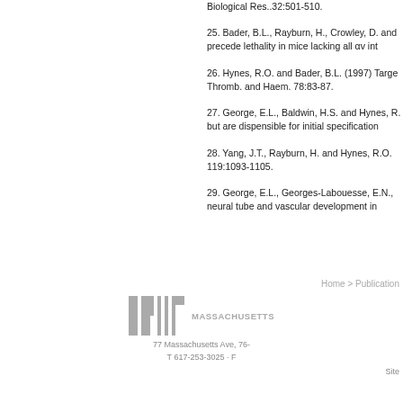Biological Res..32:501-510.
25. Bader, B.L., Rayburn, H., Crowley, D. and precede lethality in mice lacking all αv int
26. Hynes, R.O. and Bader, B.L. (1997) Targe Thromb. and Haem. 78:83-87.
27. George, E.L., Baldwin, H.S. and Hynes, R but are dispensible for initial specification
28. Yang, J.T., Rayburn, H. and Hynes, R.O. 119:1093-1105.
29. George, E.L., Georges-Labouesse, E.N., neural tube and vascular development in
Home > Publications
[Figure (logo): MIT logo and MASSACHUSETTS text]
77 Massachusetts Ave, 76- T 617-253-3025 · F
Site